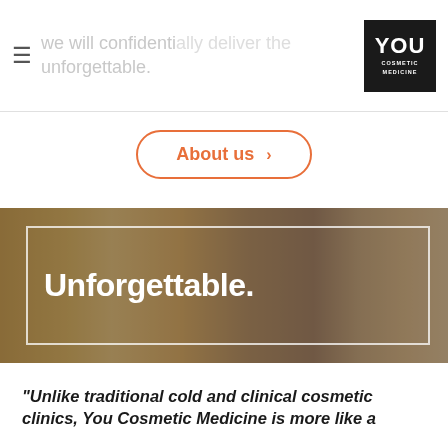we will confidentially deliver the unforgettable.
[Figure (logo): YOU COSMETIC MEDICINE logo — white text on black square]
About us >
[Figure (photo): Luxury cosmetic clinic interior with reed diffuser, perfume bottles, and leather sofa. White bordered box overlay with text 'Unforgettable.']
“Unlike traditional cold and clinical cosmetic clinics, You Cosmetic Medicine is more like a